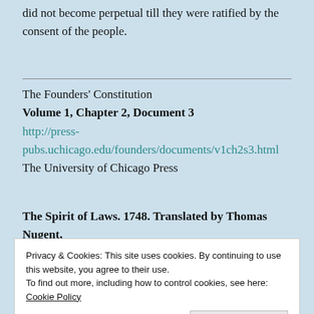did not become perpetual till they were ratified by the consent of the people.
The Founders' Constitution
Volume 1, Chapter 2, Document 3
http://press-pubs.uchicago.edu/founders/documents/v1ch2s3.html
The University of Chicago Press
The Spirit of Laws. 1748. Translated by Thomas Nugent,
Privacy & Cookies: This site uses cookies. By continuing to use this website, you agree to their use.
To find out more, including how to control cookies, see here: Cookie Policy
Close and accept